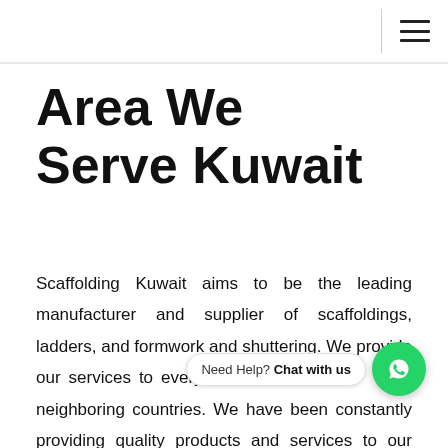≡
Area We Serve Kuwait
Scaffolding Kuwait aims to be the leading manufacturer and supplier of scaffoldings, ladders, and formwork and shuttering. We provide our services to every city in the neighboring countries. We have been constantly providing quality products and services to our clients. Our top-quality product and timely delivery at a reasonable